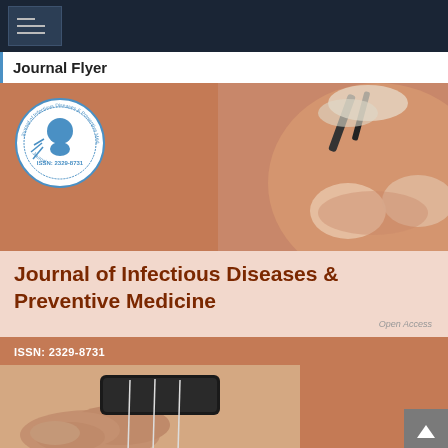Journal Flyer
[Figure (illustration): Journal cover image showing cupping therapy on a person's back, with a circular journal logo on the left side. The logo reads 'Journal of Infectious Diseases & Preventive Medicine' with ISSN: 2329-8731.]
Journal of Infectious Diseases & Preventive Medicine
Open Access
ISSN: 2329-8731
[Figure (photo): Close-up photo of acupuncture needles being held by a person's hand against a dark background.]